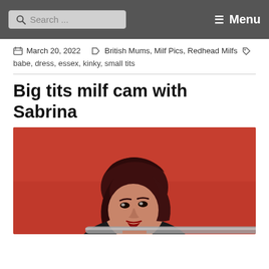Search ... Menu
March 20, 2022  British Mums, Milf Pics, Redhead Milfs
babe, dress, essex, kinky, small tits
Big tits milf cam with Sabrina
[Figure (photo): A woman with dark red hair against a bright red background, looking upward, with a metal bar visible in the lower portion of the image.]